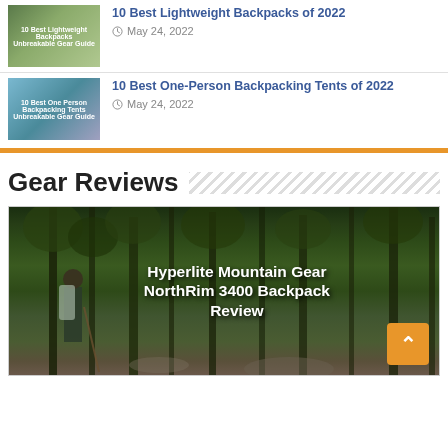10 Best Lightweight Backpacks of 2022 — May 24, 2022
10 Best One-Person Backpacking Tents of 2022 — May 24, 2022
Gear Reviews
[Figure (photo): Forest scene with hiker carrying a large backpack, overlaid text reads: Hyperlite Mountain Gear NorthRim 3400 Backpack Review. Orange scroll-to-top button in bottom right corner.]